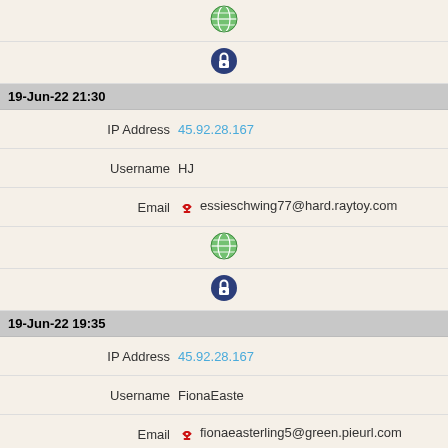[Figure (other): Globe icon (top, partially visible)]
[Figure (other): Lock/info icon]
19-Jun-22 21:30
IP Address  45.92.28.167
Username  HJ
Email  essieschwing77@hard.raytoy.com
[Figure (other): Globe icon]
[Figure (other): Lock/info icon]
19-Jun-22 19:35
IP Address  45.92.28.167
Username  FionaEaste
Email  fionaeasterling5@green.pieurl.com
[Figure (other): Globe icon]
[Figure (other): Lock/info icon]
19-Jun-22 17:44
IP Address  45.92.28.167
Username  PO
[Figure (other): Biohazard icon (partially visible at bottom)]